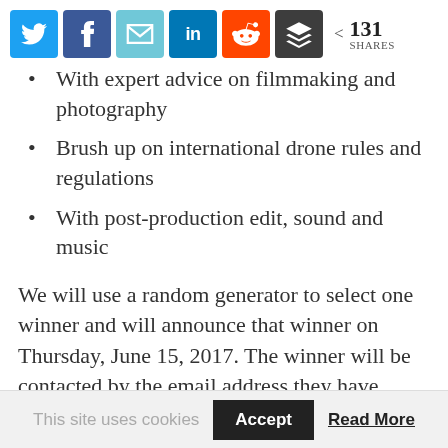[Figure (infographic): Social media sharing buttons: Twitter (blue), Facebook (dark blue), Email (light blue), LinkedIn (blue), Reddit (orange-red), Buffer (dark gray), with a share count showing < 131 SHARES]
With expert advice on filmmaking and photography
Brush up on international drone rules and regulations
With post-production edit, sound and music
We will use a random generator to select one winner and will announce that winner on Thursday, June 15, 2017. The winner will be contacted by the email address they have provided on the competition page.
And a ...
This site uses cookies   Accept   Read More